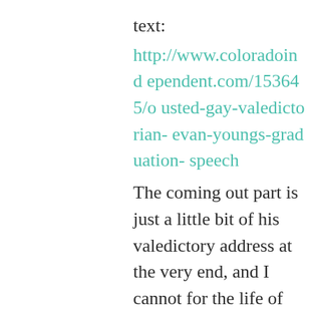text:
http://www.coloradoindependent.com/153645/ousted-gay-valedictorian-evan-youngs-graduation-speech
The coming out part is just a little bit of his valedictory address at the very end, and I cannot for the life of me